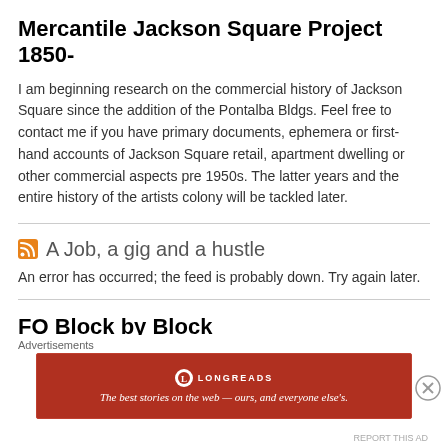Mercantile Jackson Square Project 1850-
I am beginning research on the commercial history of Jackson Square since the addition of the Pontalba Bldgs. Feel free to contact me if you have primary documents, ephemera or first-hand accounts of Jackson Square retail, apartment dwelling or other commercial aspects pre 1950s. The latter years and the entire history of the artists colony will be tackled later.
A Job, a gig and a hustle
An error has occurred; the feed is probably down. Try again later.
FO Block by Block
Advertisements
[Figure (infographic): Longreads advertisement banner: red background with Longreads logo and tagline 'The best stories on the web — ours, and everyone else's.']